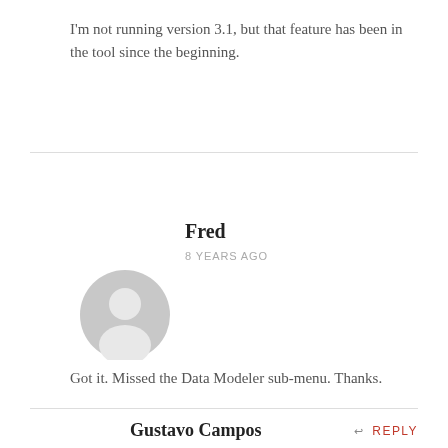I'm not running version 3.1, but that feature has been in the tool since the beginning.
Fred
8 YEARS AGO
[Figure (illustration): Generic user avatar icon — grey circle with silhouette of a person]
Got it. Missed the Data Modeler sub-menu. Thanks.
Gustavo Campos
↩ REPLY